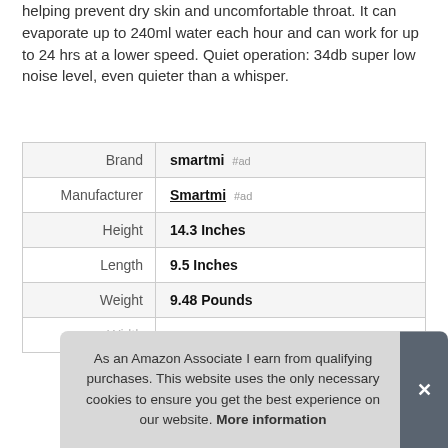helping prevent dry skin and uncomfortable throat. It can evaporate up to 240ml water each hour and can work for up to 24 hrs at a lower speed. Quiet operation: 34db super low noise level, even quieter than a whisper.
| Brand | smartmi #ad |
| Manufacturer | Smartmi #ad |
| Height | 14.3 Inches |
| Length | 9.5 Inches |
| Weight | 9.48 Pounds |
As an Amazon Associate I earn from qualifying purchases. This website uses the only necessary cookies to ensure you get the best experience on our website. More information